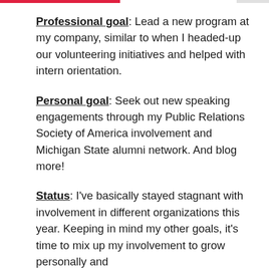Professional goal: Lead a new program at my company, similar to when I headed-up our volunteering initiatives and helped with intern orientation.
Personal goal: Seek out new speaking engagements through my Public Relations Society of America involvement and Michigan State alumni network. And blog more!
Status: I've basically stayed stagnant with involvement in different organizations this year. Keeping in mind my other goals, it's time to mix up my involvement to grow personally and